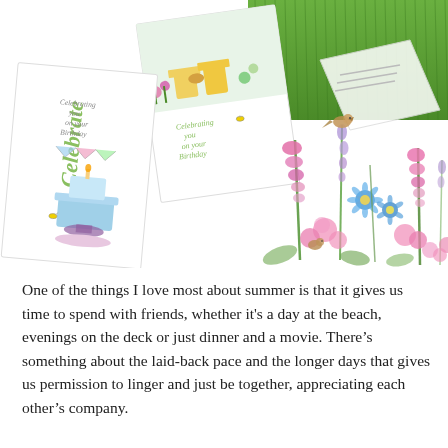[Figure (illustration): A collage of greeting cards and illustrations: a birthday cake card with 'Celebrate' and 'Celebrating you on your Birthday' text, a garden scene card with Adirondack chairs, a photo of someone lying on green grass, and a watercolor illustration of a garden border with pink and blue flowers, foxgloves, and a small bird perched on a tall stem.]
One of the things I love most about summer is that it gives us time to spend with friends, whether it's a day at the beach, evenings on the deck or just dinner and a movie. There's something about the laid-back pace and the longer days that gives us permission to linger and just be together, appreciating each other's company.